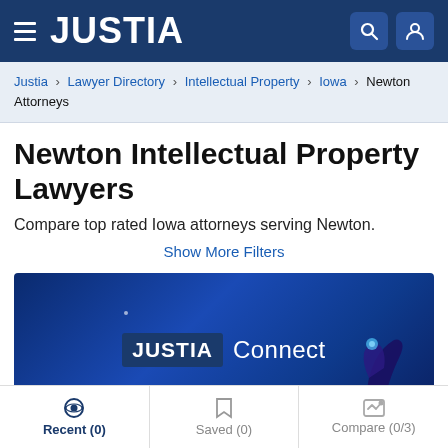JUSTIA
Justia › Lawyer Directory › Intellectual Property › Iowa › Newton Attorneys
Newton Intellectual Property Lawyers
Compare top rated Iowa attorneys serving Newton.
Show More Filters
[Figure (screenshot): Justia Connect promotional banner with blue gradient background and a hand pointing upward toward the logo]
Recent (0)   Saved (0)   Compare (0/3)